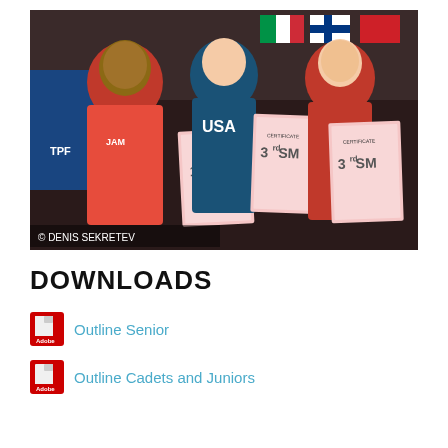[Figure (photo): Three athletes posing together holding certificates and trophies. Left athlete wears orange/red jacket with 1st SM certificate, center athlete wears blue USA shirt with 3rd SM certificate, right athlete wears red jacket with 3rd SM certificate. Various national flags visible in background. Photo credit: © DENIS SEKRETEV]
DOWNLOADS
Outline Senior
Outline Cadets and Juniors